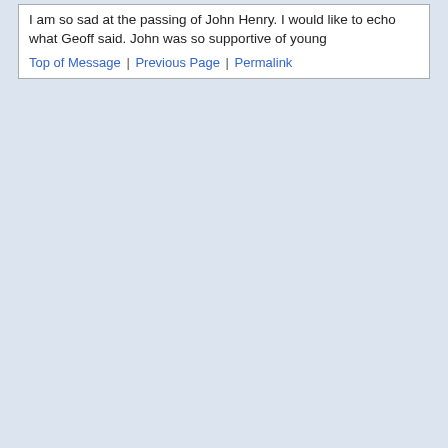I am so sad at the passing of John Henry. I would like to echo what Geoff said. John was so supportive of young
Top of Message | Previous Page | Permalink